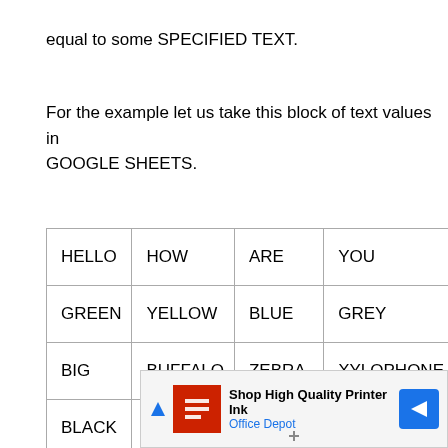equal to some SPECIFIED TEXT.
For the example let us take this block of text values in GOOGLE SHEETS.
| HELLO | HOW | ARE | YOU | P |
| GREEN | YELLOW | BLUE | GREY | W |
| BIG | BUFFALO | ZEBRA | XYLOPHONE | S |
| BLACK | APPLE | MANGO | GUAVA | C |
[Figure (other): Advertisement banner: Shop High Quality Printer Ink - Office Depot]